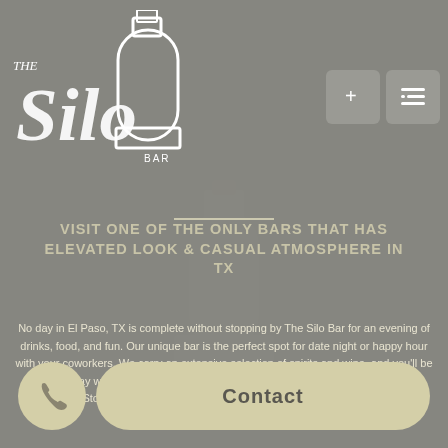[Figure (logo): The Silo Bar logo in white script text with a silo graphic illustration]
[Figure (other): Navigation buttons: plus (+) button and list/menu button, gray square rounded rectangles]
VISIT ONE OF THE ONLY BARS THAT HAS ELEVATED LOOK & CASUAL ATMOSPHERE IN TX
No day in El Paso, TX is complete without stopping by The Silo Bar for an evening of drinks, food, and fun. Our unique bar is the perfect spot for date night or happy hour with your coworkers. We carry an extensive selection of spirits and wine, and you'll be blown away when you pair our delicious cocktails with our deluxe dining menu.
Stop by our spirits and wine bar tonight for an unforgetta...
[Figure (other): Phone icon button (circular, tan/beige color)]
[Figure (other): Contact button (rounded rectangle, tan/beige color with bold text 'Contact')]